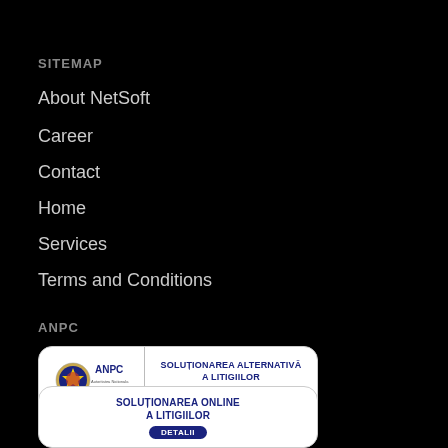SITEMAP
About NetSoft
Career
Contact
Home
Services
Terms and Conditions
ANPC
[Figure (screenshot): ANPC badge with logo and text: SOLUȚIONAREA ALTERNATIVĂ A LITIGIILOR with DETALII button]
[Figure (screenshot): ANPC badge with text: SOLUȚIONAREA ONLINE A LITIGIILOR with DETALII button]